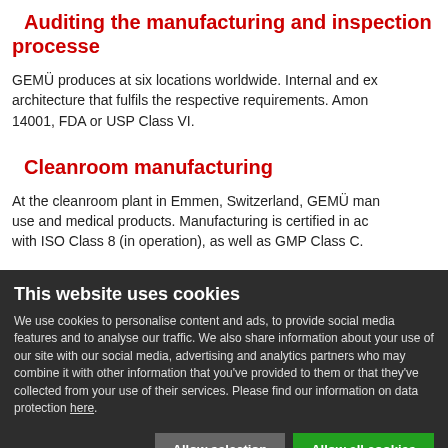Auditing the manufacturing and inspection processes
GEMÜ produces at six locations worldwide. Internal and external audits ensure an architecture that fulfils the respective requirements. Among others these include ISO 14001, FDA or USP Class VI.
Cleanroom manufacturing
At the cleanroom plant in Emmen, Switzerland, GEMÜ manufactures single use and medical products. Manufacturing is certified in accordance with ISO Class 8 (in operation), as well as GMP Class C.
This website uses cookies
We use cookies to personalise content and ads, to provide social media features and to analyse our traffic. We also share information about your use of our site with our social media, advertising and analytics partners who may combine it with other information that you've provided to them or that they've collected from your use of their services. Please find our information on data protection here.
Allow selection  Allow all cookies
Necessary  Preferences  Statistics  Marketing  Show details